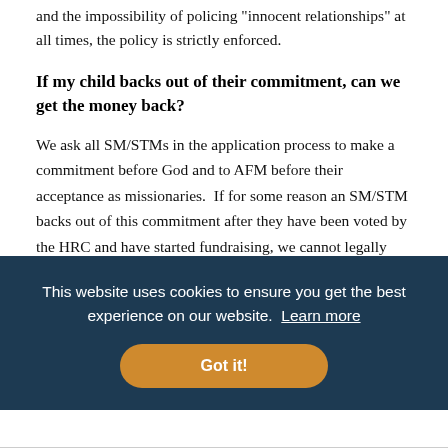and the impossibility of policing "innocent relationships" at all times, the policy is strictly enforced.
If my child backs out of their commitment, can we get the money back?
We ask all SM/STMs in the application process to make a commitment before God and to AFM before their acceptance as missionaries.  If for some reason an SM/STM backs out of this commitment after they have been voted by the HRC and have started fundraising, we cannot legally refund any of the funds to the SM/STM due
This website uses cookies to ensure you get the best experience on our website. Learn more
Got it!